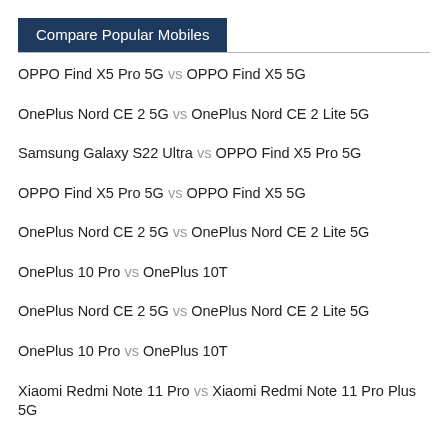Compare Popular Mobiles
OPPO Find X5 Pro 5G vs OPPO Find X5 5G
OnePlus Nord CE 2 5G vs OnePlus Nord CE 2 Lite 5G
Samsung Galaxy S22 Ultra vs OPPO Find X5 Pro 5G
OPPO Find X5 Pro 5G vs OPPO Find X5 5G
OnePlus Nord CE 2 5G vs OnePlus Nord CE 2 Lite 5G
OnePlus 10 Pro vs OnePlus 10T
OnePlus Nord CE 2 5G vs OnePlus Nord CE 2 Lite 5G
OnePlus 10 Pro vs OnePlus 10T
Xiaomi Redmi Note 11 Pro vs Xiaomi Redmi Note 11 Pro Plus 5G